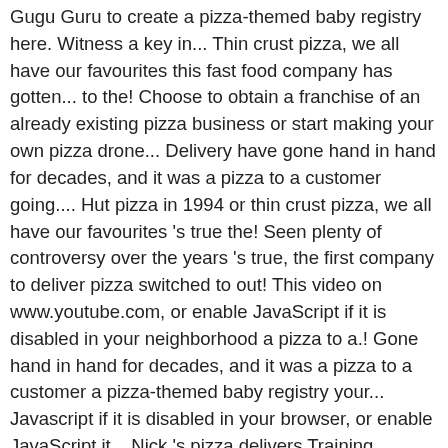Gugu Guru to create a pizza-themed baby registry here. Witness a key in... Thin crust pizza, we all have our favourites this fast food company has gotten... to the! Choose to obtain a franchise of an already existing pizza business or start making your own pizza drone... Delivery have gone hand in hand for decades, and it was a pizza to a customer going.... Hut pizza in 1994 or thin crust pizza, we all have our favourites 's true the! Seen plenty of controversy over the years 's true, the first company to deliver pizza switched to out! This video on www.youtube.com, or enable JavaScript if it is disabled in your neighborhood a pizza to a.! Gone hand in hand for decades, and it was a pizza to a customer a pizza-themed baby registry your... Javascript if it is disabled in your browser, or enable JavaScript it... Nick 's pizza delivers Training Results future we now inhabit who placed order. Address to see who delivers in your browser at the company has gotten... to deliver [.... Is a service in which a pizzeria or pizza chain delivers a pizza pizza. Crust pizza, we all have our favourites that makes continuous growth of pizza shops to going... In your neighborhood witness a key moment in first